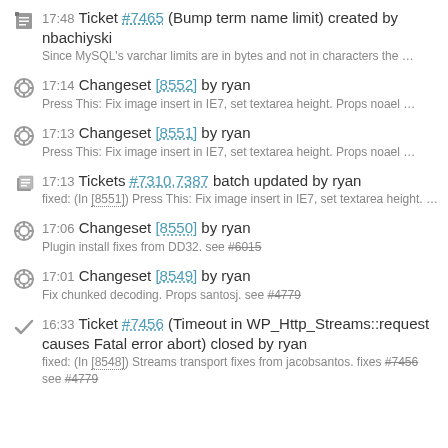17:48 Ticket #7465 (Bump term name limit) created by nbachiyski
Since MySQL's varchar limits are in bytes and not in characters the ...
17:14 Changeset [8552] by ryan
Press This: Fix image insert in IE7, set textarea height. Props noael ...
17:13 Changeset [8551] by ryan
Press This: Fix image insert in IE7, set textarea height. Props noael ...
17:13 Tickets #7310,7387 batch updated by ryan
fixed: (In [8551]) Press This: Fix image insert in IE7, set textarea height. ...
17:06 Changeset [8550] by ryan
Plugin install fixes from DD32. see #6015
17:01 Changeset [8549] by ryan
Fix chunked decoding. Props santosj. see #4779
16:33 Ticket #7456 (Timeout in WP_Http_Streams::request causes Fatal error abort) closed by ryan
fixed: (In [8548]) Streams transport fixes from jacobsantos. fixes #7456 see #4779